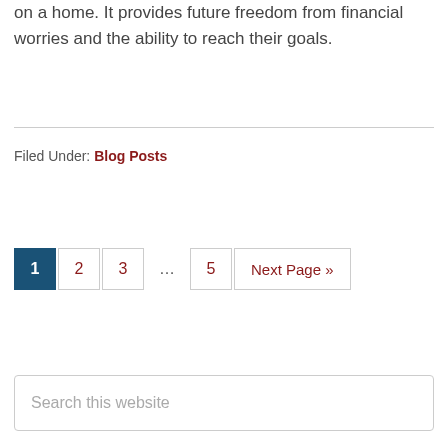on a home. It provides future freedom from financial worries and the ability to reach their goals.
Filed Under: Blog Posts
1 2 3 … 5 Next Page »
Search this website